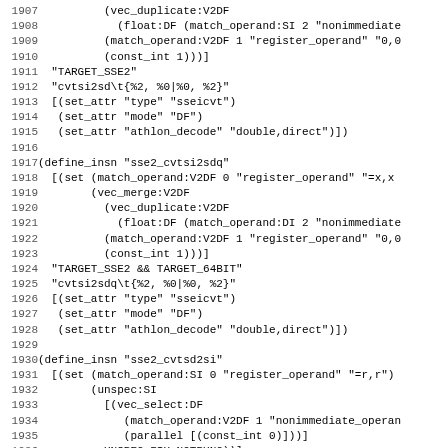Source code listing lines 1907-1938, GCC machine description (define_insn patterns for SSE2 instructions: sse2_cvtsi2sd, sse2_cvtsi2sdq, sse2_cvtsd2si)